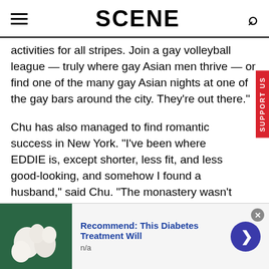SCENE
activities for all stripes. Join a gay volleyball league — truly where gay Asian men thrive — or find one of the many gay Asian nights at one of the gay bars around the city. They're out there."
Chu has also managed to find romantic success in New York. "I've been where EDDIE is, except shorter, less fit, and less good-looking, and somehow I found a husband," said Chu. "The monastery wasn't my calling, and I suspect it's not EDDIE's either."
A quick word to gay white men: It's fine to have
[Figure (screenshot): Advertisement banner: image of white garlic cloves on green background, text 'Recommend: This Diabetes Treatment Will', subtext 'n/a', with a blue arrow button on the right and a close X button.]